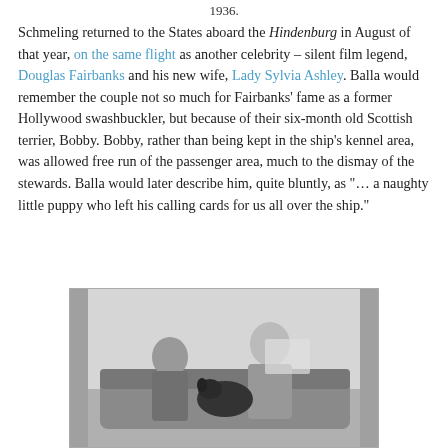1936.
Schmeling returned to the States aboard the Hindenburg in August of that year, on the same flight as another celebrity – silent film legend, Douglas Fairbanks and his new wife, Lady Sylvia Ashley. Balla would remember the couple not so much for Fairbanks' fame as a former Hollywood swashbuckler, but because of their six-month old Scottish terrier, Bobby. Bobby, rather than being kept in the ship's kennel area, was allowed free run of the passenger area, much to the dismay of the stewards. Balla would later describe him, quite bluntly, as "… a naughty little puppy who left his calling cards for us all over the ship."
[Figure (photo): Black and white photograph showing two people seated in what appears to be a lounge area of the Hindenburg airship. A man sits on the left with arms crossed, a woman sits on the right reading a newspaper or magazine, and a black Scottish terrier (Bobby) is visible between/in front of them on the seating.]